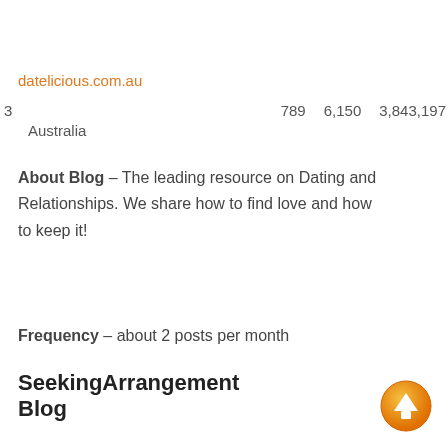datelicious.com.au
3   789   6,150   3,843,197
Australia
About Blog – The leading resource on Dating and Relationships. We share how to find love and how to keep it!
Frequency – about 2 posts per month
SeekingArrangement Blog
[Figure (illustration): Orange circular up-arrow button icon in bottom right corner]